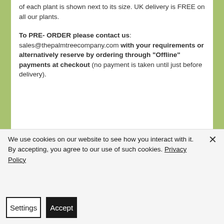of each plant is shown next to its size. UK delivery is FREE on all our plants.
To PRE- ORDER please contact us: sales@thepalmtreecompany.com with your requirements or alternatively reserve by ordering through "Offline" payments at checkout (no payment is taken until just before delivery).
We use cookies on our website to see how you interact with it. By accepting, you agree to our use of such cookies. Privacy Policy
Settings
Accept